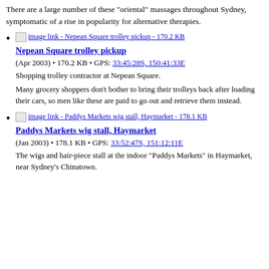There are a large number of these "oriental" massages throughout Sydney, symptomatic of a rise in popularity for alternative therapies.
image link - Nepean Square trolley pickup - 170.2 KB
Nepean Square trolley pickup
(Apr 2003) • 170.2 KB • GPS: 33:45:28S, 150:41:33E
Shopping trolley contractor at Nepean Square.
Many grocery shoppers don't bother to bring their trolleys back after loading their cars, so men like these are paid to go out and retrieve them instead.
image link - Paddys Markets wig stall, Haymarket - 178.1 KB
Paddys Markets wig stall, Haymarket
(Jan 2003) • 178.1 KB • GPS: 33:52:47S, 151:12:11E
The wigs and hair-piece stall at the indoor "Paddys Markets" in Haymarket, near Sydney's Chinatown.